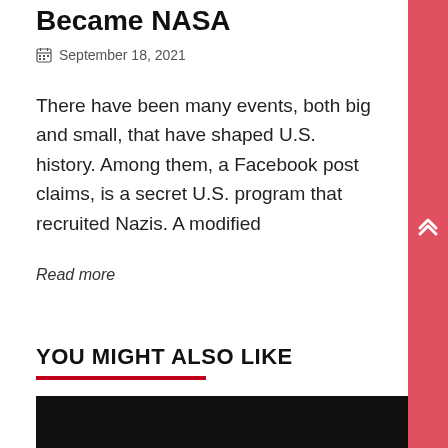Became NASA
September 18, 2021
There have been many events, both big and small, that have shaped U.S. history. Among them, a Facebook post claims, is a secret U.S. program that recruited Nazis. A modified
Read more
YOU MIGHT ALSO LIKE